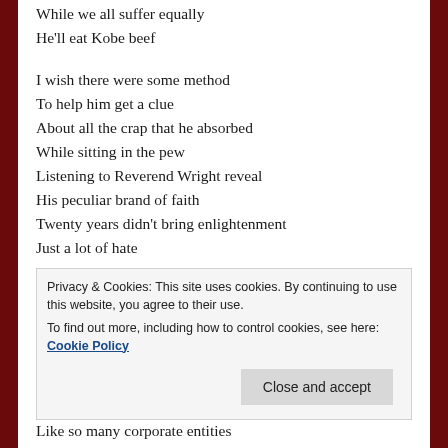While we all suffer equally
He'll eat Kobe beef

I wish there were some method
To help him get a clue
About all the crap that he absorbed
While sitting in the pew
Listening to Reverend Wright reveal
His peculiar brand of faith
Twenty years didn't bring enlightenment
Just a lot of hate

Which brings us back to where we're at
Privacy & Cookies: This site uses cookies. By continuing to use this website, you agree to their use.
To find out more, including how to control cookies, see here: Cookie Policy
Like so many corporate entities